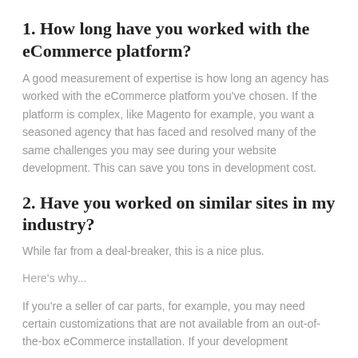1. How long have you worked with the eCommerce platform?
A good measurement of expertise is how long an agency has worked with the eCommerce platform you've chosen. If the platform is complex, like Magento for example, you want a seasoned agency that has faced and resolved many of the same challenges you may see during your website development. This can save you tons in development cost.
2. Have you worked on similar sites in my industry?
While far from a deal-breaker, this is a nice plus.
Here's why...
If you're a seller of car parts, for example, you may need certain customizations that are not available from an out-of-the-box eCommerce installation. If your development